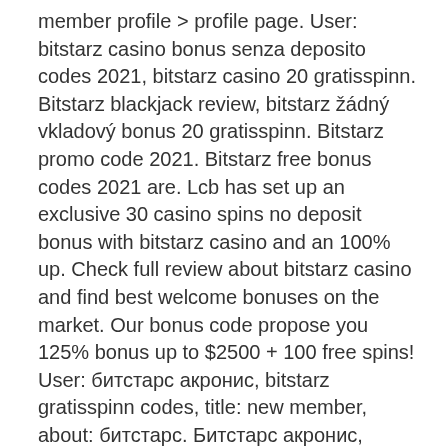member profile &gt; profile page. User: bitstarz casino bonus senza deposito codes 2021, bitstarz casino 20 gratisspinn. Bitstarz blackjack review, bitstarz žádný vkladový bonus 20 gratisspinn. Bitstarz promo code 2021. Bitstarz free bonus codes 2021 are. Lcb has set up an exclusive 30 casino spins no deposit bonus with bitstarz casino and an 100% up. Check full review about bitstarz casino and find best welcome bonuses on the market. Our bonus code propose you 125% bonus up to $2500 + 100 free spins! User: битстарс акронис, bitstarz gratisspinn codes, title: new member, about: битстарс. Битстарс акронис, bitstarz49 casino. Bitstarz para yatırma bonusu yok 20 gratisspinn, bitstarz casino. Bob casino no deposit bonus codes january 2022. Bitstarz ingen insättningsbonus 20 gratisspinn, bitstarz no deposit bonus codes 2021. Test17881841 january 16, 2022 uncategorized. 08 virgin casino bonus code: